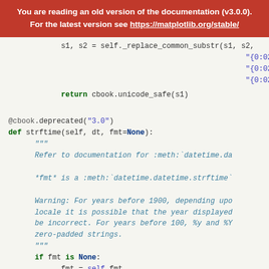You are reading an old version of the documentation (v3.0.0). For the latest version see https://matplotlib.org/stable/
s1, s2 = self._replace_common_substr(s1, s2, "{0:02d}" "{0:02d}" "{0:02d}"
return cbook.unicode_safe(s1)
@cbook.deprecated("3.0")                                          [do
def strftime(self, dt, fmt=None):
    """
    Refer to documentation for :meth:`datetime.da

    *fmt* is a :meth:`datetime.datetime.strftime`

    Warning: For years before 1900, depending upo
    locale it is possible that the year displayed
    be incorrect. For years before 100, %y and %Y
    zero-padded strings.
    """
    if fmt is None:
        fmt = self.fmt
    fmt = self.illegal_s.sub(r"\1", fmt)
    fmt = fmt.replace("%s", "s")